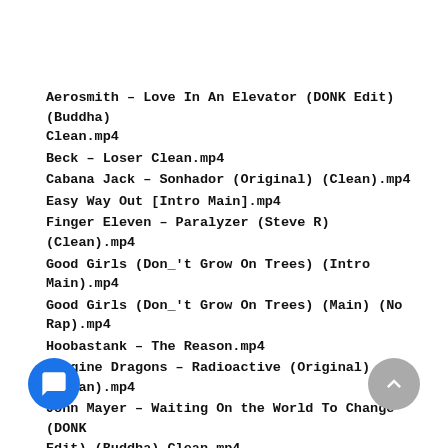Aerosmith – Love In An Elevator (DONK Edit) (Buddha) Clean.mp4
Beck – Loser Clean.mp4
Cabana Jack – Sonhador (Original) (Clean).mp4
Easy Way Out [Intro Main].mp4
Finger Eleven – Paralyzer (Steve R) (Clean).mp4
Good Girls (Don_'t Grow On Trees) (Intro Main).mp4
Good Girls (Don_'t Grow On Trees) (Main) (No Rap).mp4
Hoobastank – The Reason.mp4
Imagine Dragons – Radioactive (Original) (Clean).mp4
John Mayer – Waiting On the World To Change (DONK Edit) (Buddha) Clean.mp4
Linkin Park – In The End (Christian Cole Remix).mp4
ry Knox – Ghost in the Mirror (Orignal) ).mp4
Nickelback – Million Miles An Hour (Lyric) (Dirty).mp4